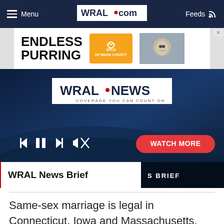Menu | WRAL.com | Feeds
[Figure (screenshot): SPCA of Wake County advertisement with text 'ENDLESS PURRING' and orange SPCA logo and cat photo]
[Figure (screenshot): WRAL News video player with WRAL News logo, media controls (skip back, pause, skip forward, mute), WATCH MORE button, and WRAL News Brief chyron]
Same-sex marriage is legal in Connecticut, Iowa and Massachusetts. Beginning in September, it will also be legal in Vermont